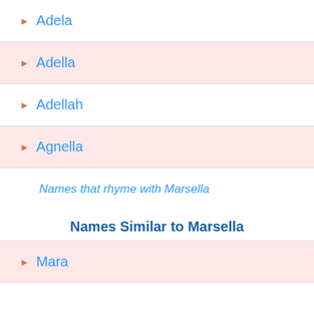Adela
Adella
Adellah
Agnella
Names that rhyme with Marsella
Names Similar to Marsella
Mara